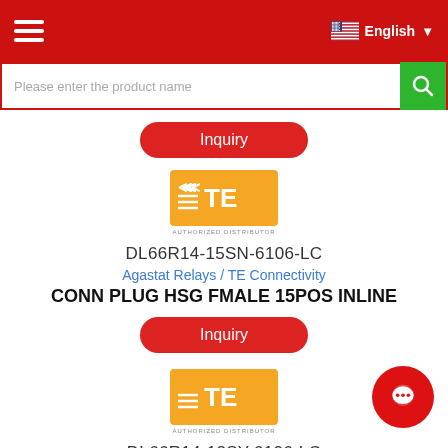Header navigation with hamburger menu and English language selector
Please enter the product name
Inquiry
[Figure (logo): TE Connectivity orange authorized distributor logo badge]
DL66R14-15SN-6106-LC
Agastat Relays / TE Connectivity
CONN PLUG HSG FMALE 15POS INLINE
Inquiry
[Figure (logo): TE Connectivity orange authorized distributor logo badge]
DL66R14-12SY-6106-LC
Agastat Relays / TE Connectivity
CONN PLUG HSG FMALE 12POS INLINE
Inquiry